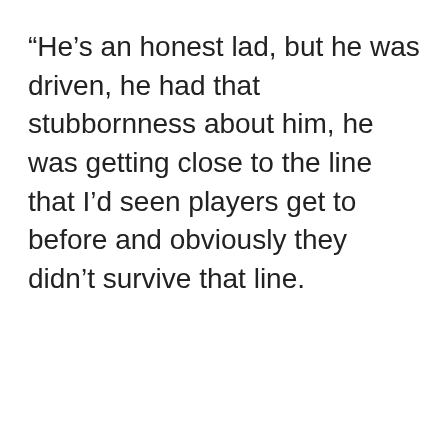"He’s an honest lad, but he was driven, he had that stubbornness about him, he was getting close to the line that I’d seen players get to before and obviously they didn’t survive that line.